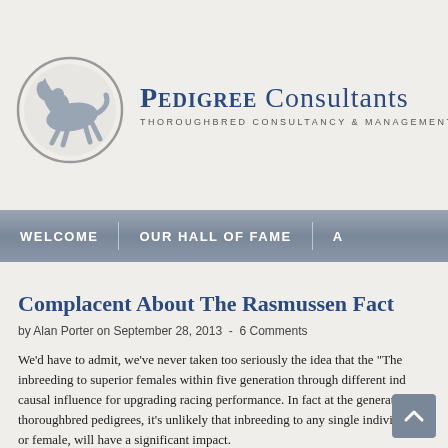[Figure (logo): Pedigree Consultants logo with horse and jockey silhouette in a circular design, text: PEDIGREE CONSULTANTS - THOROUGHBRED CONSULTANCY & MANAGEMENT]
WELCOME | OUR HALL OF FAME | A
Complacent About The Rasmussen Fact
by Alan Porter on September 28, 2013  -  6 Comments
We'd have to admit, we've never taken too seriously the idea that the "The inbreeding to superior females within five generation through different ind causal influence for upgrading racing performance. In fact at the generatio in thoroughbred pedigrees, it's unlikely that inbreeding to any single indivi male or female, will have a significant impact.